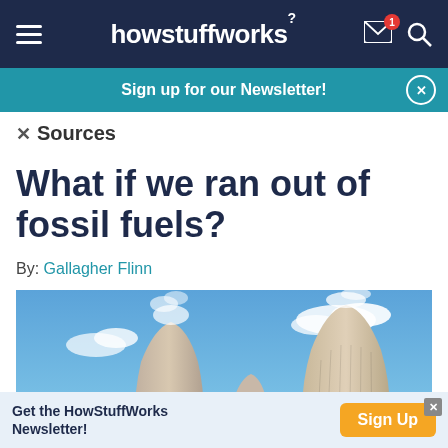howstuffworks
Sign up for our Newsletter!
Sources
What if we ran out of fossil fuels?
By: Gallagher Flinn
[Figure (photo): Three large cooling towers of a power plant against a blue sky with clouds, steam rising from them]
Get the HowStuffWorks Newsletter!